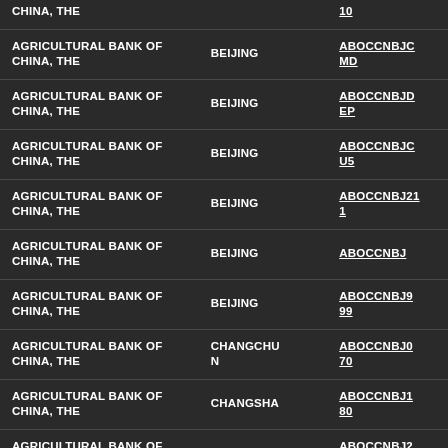| CHINA, THE |  | 10 |
| AGRICULTURAL BANK OF CHINA, THE | BEIJING | ABOCCNBJCMD |
| AGRICULTURAL BANK OF CHINA, THE | BEIJING | ABOCCNBJDEP |
| AGRICULTURAL BANK OF CHINA, THE | BEIJING | ABOCCNBJCU5 |
| AGRICULTURAL BANK OF CHINA, THE | BEIJING | ABOCCNBJ211 |
| AGRICULTURAL BANK OF CHINA, THE | BEIJING | ABOCCNBJ |
| AGRICULTURAL BANK OF CHINA, THE | BEIJING | ABOCCNBJ999 |
| AGRICULTURAL BANK OF CHINA, THE | CHANGCHUN | ABOCCNBJ070 |
| AGRICULTURAL BANK OF CHINA, THE | CHANGSHA | ABOCCNBJ180 |
| AGRICULTURAL BANK OF CHINA, THE | CHENGDU | ABOCCNBJ220 |
| AGRICULTURAL BANK OF | CHONGQIN | ABOCCNBJ31 |